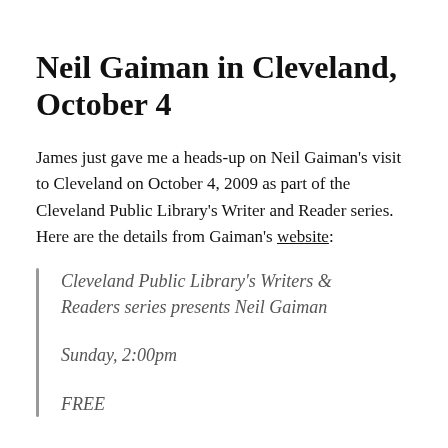Neil Gaiman in Cleveland, October 4
James just gave me a heads-up on Neil Gaiman’s visit to Cleveland on October 4, 2009 as part of the Cleveland Public Library’s Writer and Reader series. Here are the details from Gaiman’s website:
Cleveland Public Library’s Writers & Readers series presents Neil Gaiman
Sunday, 2:00pm
FREE